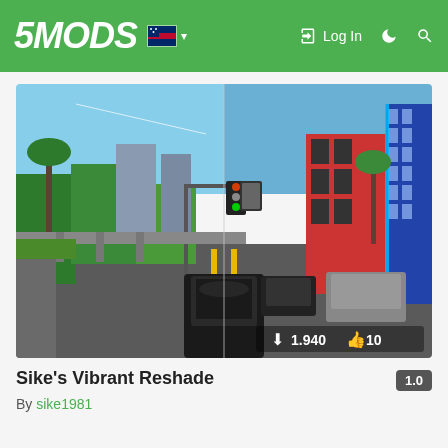5MODS | Log In
[Figure (screenshot): Split screenshot comparison of GTA V with Sike's Vibrant Reshade mod applied. Left half shows normal colors, right half shows vibrant/enhanced colors. Urban street scene with cars, traffic lights, buildings, and palm trees. Download count: 1.940, Likes: 10.]
Sike's Vibrant Reshade
By sike1981